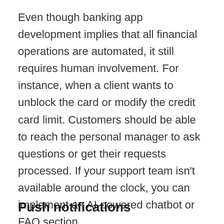Even though banking app development implies that all financial operations are automated, it still requires human involvement. For instance, when a client wants to unblock the card or modify the credit card limit. Customers should be able to reach the personal manager to ask questions or get their requests processed. If your support team isn't available around the clock, you can implement an AI-powered chatbot or FAQ section.
Push notifications